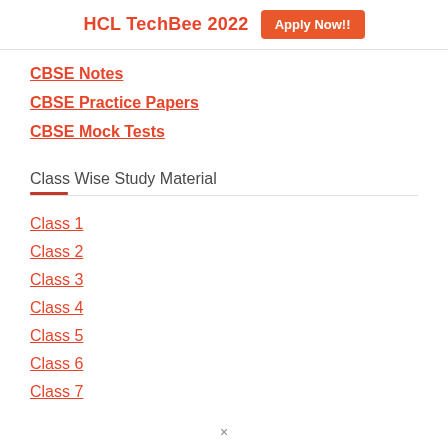HCL TechBee 2022  Apply Now!!
CBSE Notes
CBSE Practice Papers
CBSE Mock Tests
Class Wise Study Material
Class 1
Class 2
Class 3
Class 4
Class 5
Class 6
Class 7